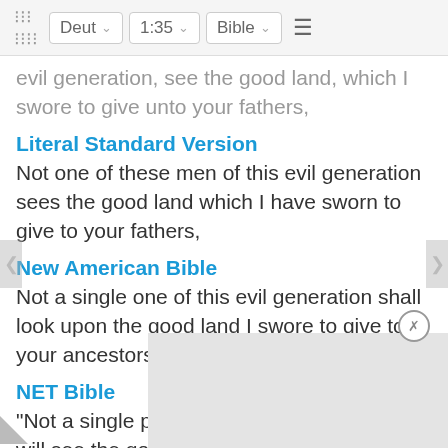⠿  Deut ∨  1:35 ∨  Bible ∨  ≡
evil generation, see the good land, which I swore to give unto your fathers,
Literal Standard Version
Not one of these men of this evil generation sees the good land which I have sworn to give to your fathers,
New American Bible
Not a single one of this evil generation shall look upon the good land I swore to give to your ancestors,
NET Bible
"Not a single person of this evil generation will see the good land that I promised to give to your ancestors!
New
"Not t